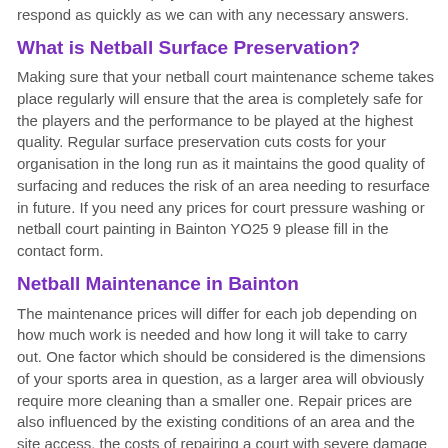out the provided enquiry form, you will allow our team to respond as quickly as we can with any necessary answers.
What is Netball Surface Preservation?
Making sure that your netball court maintenance scheme takes place regularly will ensure that the area is completely safe for the players and the performance to be played at the highest quality. Regular surface preservation cuts costs for your organisation in the long run as it maintains the good quality of surfacing and reduces the risk of an area needing to resurface in future. If you need any prices for court pressure washing or netball court painting in Bainton YO25 9 please fill in the contact form.
Netball Maintenance in Bainton
The maintenance prices will differ for each job depending on how much work is needed and how long it will take to carry out. One factor which should be considered is the dimensions of your sports area in question, as a larger area will obviously require more cleaning than a smaller one. Repair prices are also influenced by the existing conditions of an area and the site access, the costs of repairing a court with severe damage will of course be higher than